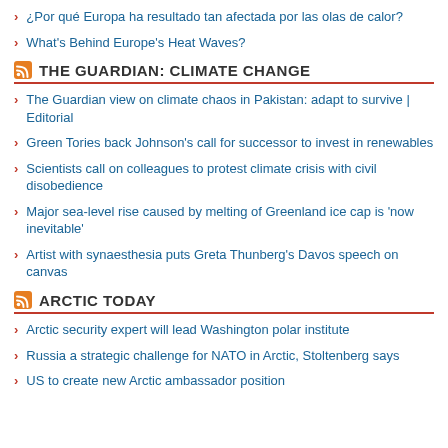¿Por qué Europa ha resultado tan afectada por las olas de calor?
What's Behind Europe's Heat Waves?
THE GUARDIAN: CLIMATE CHANGE
The Guardian view on climate chaos in Pakistan: adapt to survive | Editorial
Green Tories back Johnson's call for successor to invest in renewables
Scientists call on colleagues to protest climate crisis with civil disobedience
Major sea-level rise caused by melting of Greenland ice cap is 'now inevitable'
Artist with synaesthesia puts Greta Thunberg's Davos speech on canvas
ARCTIC TODAY
Arctic security expert will lead Washington polar institute
Russia a strategic challenge for NATO in Arctic, Stoltenberg says
US to create new Arctic ambassador position